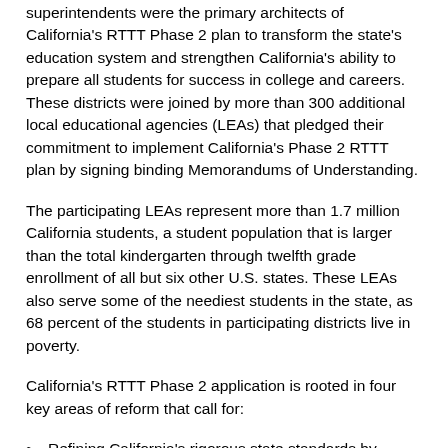superintendents were the primary architects of California's RTTT Phase 2 plan to transform the state's education system and strengthen California's ability to prepare all students for success in college and careers. These districts were joined by more than 300 additional local educational agencies (LEAs) that pledged their commitment to implement California's Phase 2 RTTT plan by signing binding Memorandums of Understanding.
The participating LEAs represent more than 1.7 million California students, a student population that is larger than the total kindergarten through twelfth grade enrollment of all but six other U.S. states. These LEAs also serve some of the neediest students in the state, as 68 percent of the students in participating districts live in poverty.
California's RTTT Phase 2 application is rooted in four key areas of reform that call for:
Refining California's rigorous state standards by adopting internationally benchmarked common core standards and aligned assessments that better prepare students for success in college